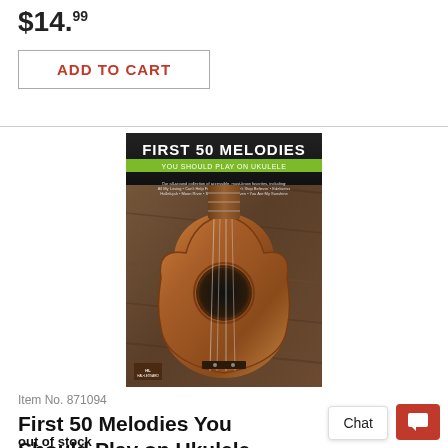$14.99
ADD TO CART
[Figure (photo): Book cover of 'First 50 Melodies You Should Play on Ukulele' by Hal Leonard, showing a ukulele on a wooden background with the title text at top.]
Item No. 871094
First 50 Melodies You Should Play on Ukulele
out of stock